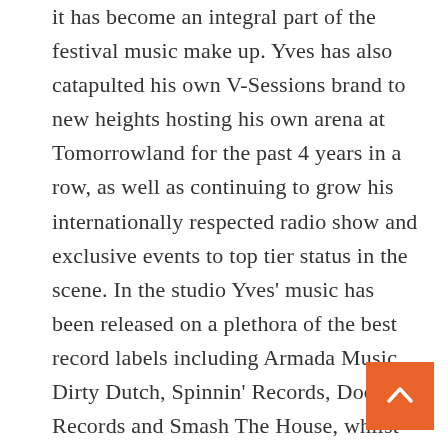it has become an integral part of the festival music make up. Yves has also catapulted his own V-Sessions brand to new heights hosting his own arena at Tomorrowland for the past 4 years in a row, as well as continuing to grow his internationally respected radio show and exclusive events to top tier status in the scene. In the studio Yves' music has been released on a plethora of the best record labels including Armada Music, Dirty Dutch, Spinnin' Records, Doorn Records and Smash The House, whilst his remix work encompasses A-list artists such as Timbaland, Missy Elliott and Ginuwine. All of which has picked up support from heavyweights like David Guetta, Afrojack, Martin Garrix, Armin van Buuren and Radio 1's Danny Howard and Pete Tong.